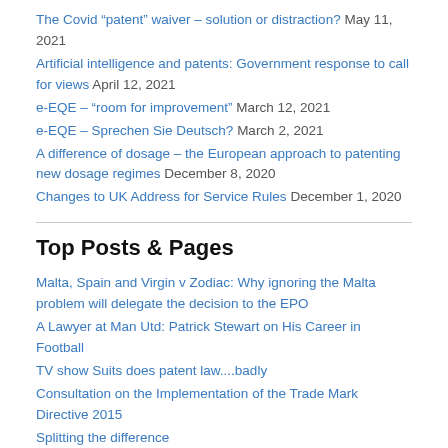The Covid “patent” waiver – solution or distraction? May 11, 2021
Artificial intelligence and patents: Government response to call for views April 12, 2021
e-EQE – “room for improvement” March 12, 2021
e-EQE – Sprechen Sie Deutsch? March 2, 2021
A difference of dosage – the European approach to patenting new dosage regimes December 8, 2020
Changes to UK Address for Service Rules December 1, 2020
Top Posts & Pages
Malta, Spain and Virgin v Zodiac: Why ignoring the Malta problem will delegate the decision to the EPO
A Lawyer at Man Utd: Patrick Stewart on His Career in Football
TV show Suits does patent law....badly
Consultation on the Implementation of the Trade Mark Directive 2015
Splitting the difference